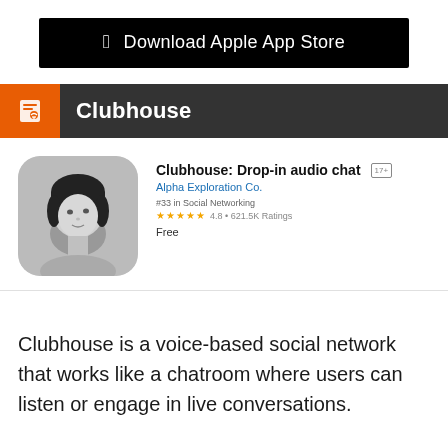[Figure (screenshot): Download Apple App Store button — black rounded rectangle with Apple logo and text]
[Figure (screenshot): Clubhouse app header bar — dark gray bar with orange icon box containing document/audio icon and white text Clubhouse]
[Figure (screenshot): App store listing: black-and-white photo of a woman with short bob haircut as app icon; app name: Clubhouse: Drop-in audio chat [17+]; developer: Alpha Exploration Co.; rank: #33 in Social Networking; rating: 4.8 + 621.5K Ratings; price: Free]
Clubhouse is a voice-based social network that works like a chatroom where users can listen or engage in live conversations.